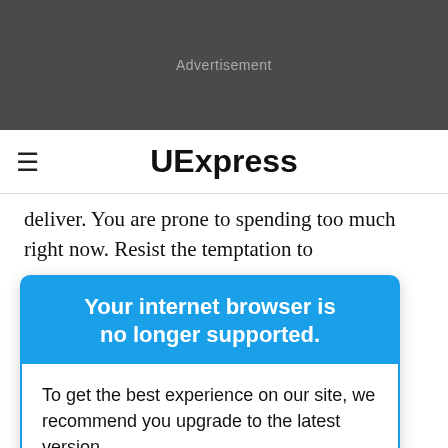[Figure (other): Dark gray advertisement banner placeholder with centered 'Advertisement' label]
≡  UExpress
deliver. You are prone to spending too much right now. Resist the temptation to
ventures.
[Figure (screenshot): Browser upgrade modal dialog with blue header reading 'Your internet browser is no longer supported.' and white body text 'To get the best experience on our site, we recommend you upgrade to the latest version.']
- Your lover
to emotional
neglecting his
or her needs. Burn your energy through